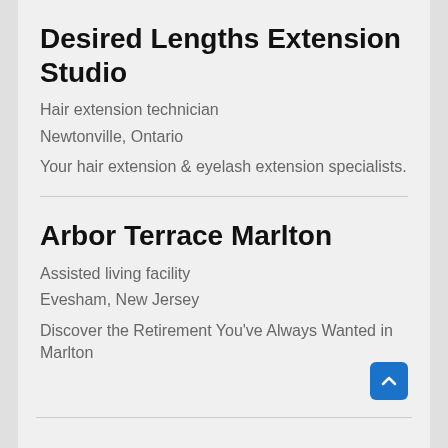Desired Lengths Extension Studio
Hair extension technician
Newtonville, Ontario
Your hair extension & eyelash extension specialists.
Arbor Terrace Marlton
Assisted living facility
Evesham, New Jersey
Discover the Retirement You’ve Always Wanted in Marlton